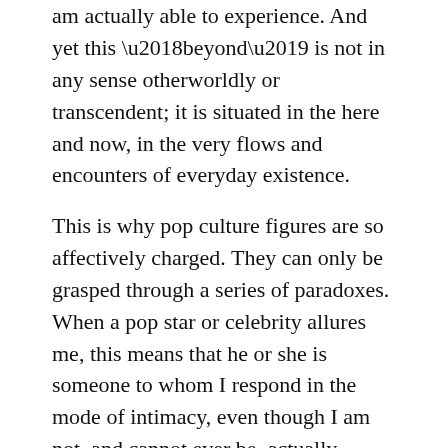am actually able to experience. And yet this ‘beyond’ is not in any sense otherworldly or transcendent; it is situated in the here and now, in the very flows and encounters of everyday existence.
This is why pop culture figures are so affectively charged. They can only be grasped through a series of paradoxes. When a pop star or celebrity allures me, this means that he or she is someone to whom I respond in the mode of intimacy, even though I am not, and cannot ever be, actually intimate with him or her. What I become obsessively aware of, therefore, is the figure’s distance from me, and the way that it baffles all my efforts to enter into any